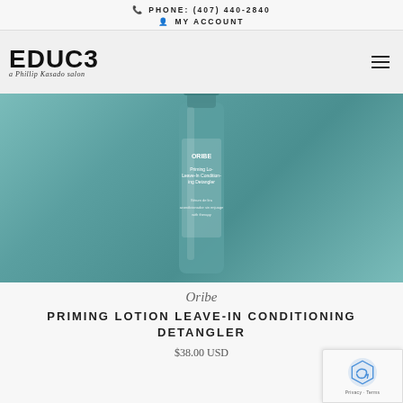PHONE: (407) 440-2840
MY ACCOUNT
[Figure (logo): EDUCE salon logo with text 'a Phillip Kasado salon']
[Figure (photo): Oribe Priming Lotion Leave-In Conditioning Detangler product bottle on teal/mint colored background]
Oribe
PRIMING LOTION LEAVE-IN CONDITIONING DETANGLER
$38.00 USD